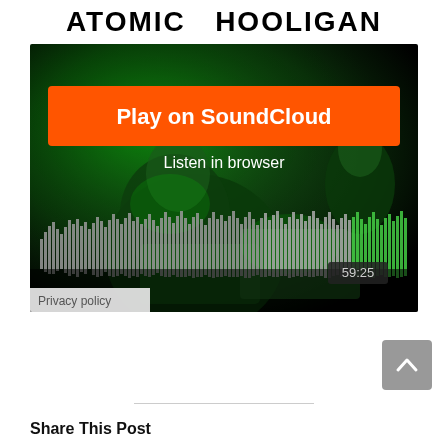ATOMIC  HOOLIGAN
[Figure (screenshot): SoundCloud embedded player with orange 'Play on SoundCloud' button, 'Listen in browser' text, a DJ photo with green lighting, audio waveform bars, and 59:25 duration. 'Privacy policy' label at bottom left.]
Share This Post